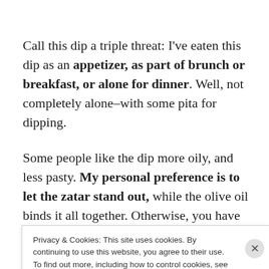Call this dip a triple threat: I've eaten this dip as an appetizer, as part of brunch or breakfast, or alone for dinner. Well, not completely alone–with some pita for dipping.
Some people like the dip more oily, and less pasty. My personal preference is to let the zatar stand out, while the olive oil binds it all together. Otherwise, you have an olive oil dip flavored with zatar, not a zatar dip with some
Privacy & Cookies: This site uses cookies. By continuing to use this website, you agree to their use.
To find out more, including how to control cookies, see here: Cookie Policy
Close and accept